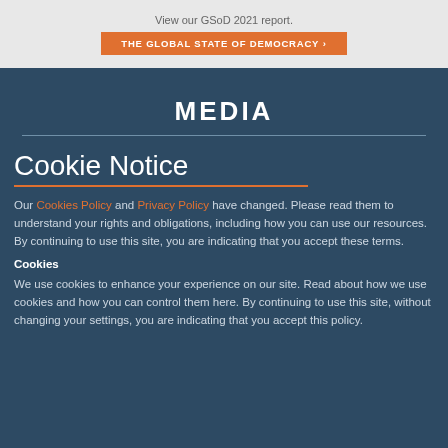View our GSoD 2021 report.
THE GLOBAL STATE OF DEMOCRACY
MEDIA
Cookie Notice
Our Cookies Policy and Privacy Policy have changed. Please read them to understand your rights and obligations, including how you can use our resources. By continuing to use this site, you are indicating that you accept these terms.
Cookies
We use cookies to enhance your experience on our site. Read about how we use cookies and how you can control them here. By continuing to use this site, without changing your settings, you are indicating that you accept this policy.